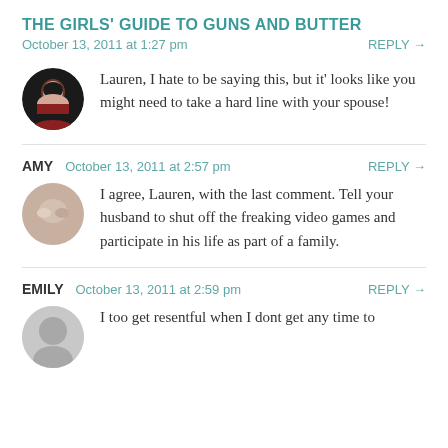THE GIRLS' GUIDE TO GUNS AND BUTTER
October 13, 2011 at 1:27 pm
REPLY →
Lauren, I hate to be saying this, but it' looks like you might need to take a hard line with your spouse!
AMY  October 13, 2011 at 2:57 pm
REPLY →
I agree, Lauren, with the last comment. Tell your husband to shut off the freaking video games and participate in his life as part of a family.
EMILY  October 13, 2011 at 2:59 pm
REPLY →
I too get resentful when I dont get any time to